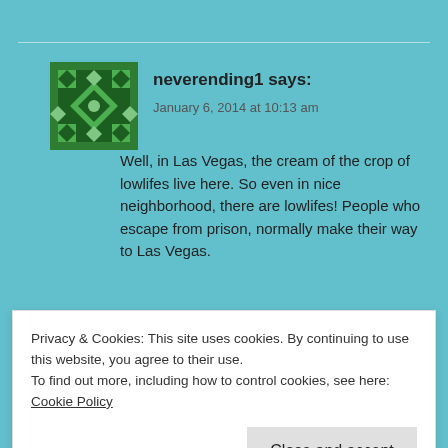neverending1 says:
January 6, 2014 at 10:13 am
Well, in Las Vegas, the cream of the crop of lowlifes live here. So even in nice neighborhood, there are lowlifes! People who escape from prison, normally make their way to Las Vegas.
👍 0 👎 0 ℹ Rate This
Log in to Reply
Privacy & Cookies: This site uses cookies. By continuing to use this website, you agree to their use.
To find out more, including how to control cookies, see here: Cookie Policy
Close and accept